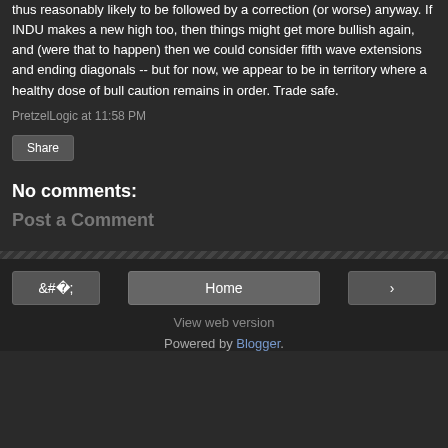thus reasonably likely to be followed by a correction (or worse) anyway. If INDU makes a new high too, then things might get more bullish again, and (were that to happen) then we could consider fifth wave extensions and ending diagonals -- but for now, we appear to be in territory where a healthy dose of bull caution remains in order. Trade safe.
PretzelLogic at 11:58 PM
Share
No comments:
Post a Comment
Home
View web version
Powered by Blogger.